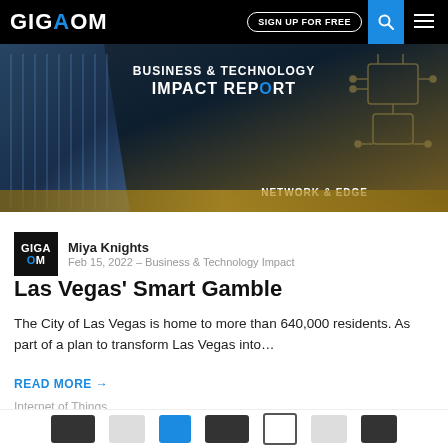GIGAOM — SIGN UP FOR FREE
[Figure (illustration): GigaOm Business & Technology Impact Report banner with Network & Edge label, dark blue background with circuit board graphics and building image]
Miya Knights
Feb 15, 2022 — Business & Technology Impact
Las Vegas’ Smart Gamble
The City of Las Vegas is home to more than 640,000 residents. As part of a plan to transform Las Vegas into…
READ MORE →
Internet of Things
[Figure (logo): Row of company/partner logos at bottom of page]